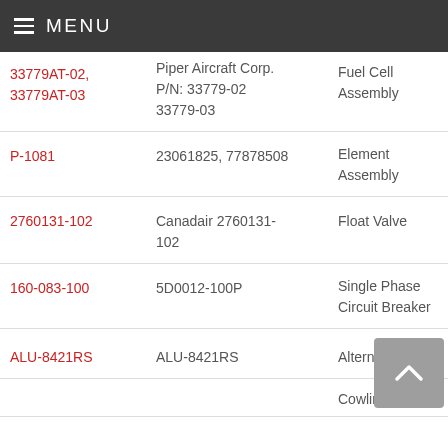MENU
| Part Number | Manufacturer P/N | Description |  |
| --- | --- | --- | --- |
| 33779AT-02, 33779AT-03 | Piper Aircraft Corp. P/N: 33779-02 33779-03 | Fuel Cell Assembly |  |
| P-1081 | 23061825, 77878508 | Element Assembly |  |
| 2760131-102 | Canadair 2760131-102 | Float Valve |  |
| 160-083-100 | 5D0012-100P | Single Phase Circuit Breaker |  |
| ALU-8421RS | ALU-8421RS | Alternator |  |
|  |  | Cowling & Prop |  |